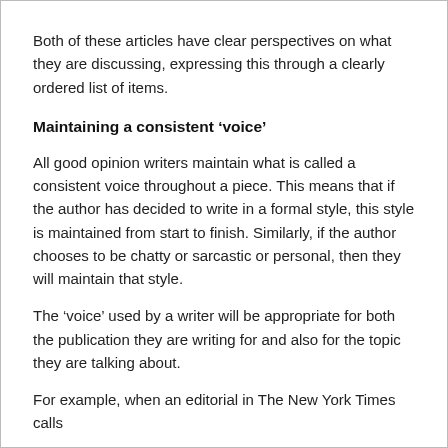Both of these articles have clear perspectives on what they are discussing, expressing this through a clearly ordered list of items.
Maintaining a consistent ‘voice’
All good opinion writers maintain what is called a consistent voice throughout a piece. This means that if the author has decided to write in a formal style, this style is maintained from start to finish. Similarly, if the author chooses to be chatty or sarcastic or personal, then they will maintain that style.
The ‘voice’ used by a writer will be appropriate for both the publication they are writing for and also for the topic they are talking about.
For example, when an editorial in The New York Times calls